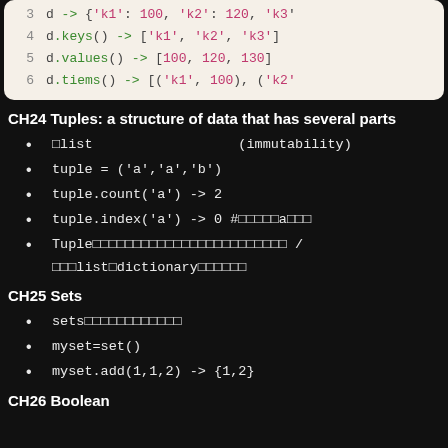[Figure (screenshot): Code block showing Python dictionary operations with line numbers 3-6. Lines show: d -> {'k1': 100, 'k2': 120, 'k3'..., d.keys() -> ['k1', 'k2', 'k3'], d.values() -> [100, 120, 130], d.tiems() -> [('k1', 100), ('k2'...]
CH24 Tuples: a structure of data that has several parts
□list                    (immutability)
tuple = ('a','a','b')
tuple.count('a') -> 2
tuple.index('a') -> 0 #□□□□□a□□□
Tuple□□□□□□□□□□□□□□□□□□□□□□□□ /□□□list□dictionary□□□□□□
CH25 Sets
sets□□□□□□□□□□□□
myset=set()
myset.add(1,1,2) -> {1,2}
CH26 Boolean